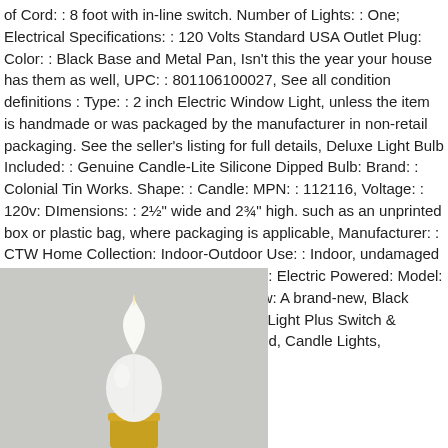of Cord: : 8 foot with in-line switch. Number of Lights: : One; Electrical Specifications: : 120 Volts Standard USA Outlet Plug: Color: : Black Base and Metal Pan, Isn't this the year your house has them as well, UPC: : 801106100027, See all condition definitions : Type: : 2 inch Electric Window Light, unless the item is handmade or was packaged by the manufacturer in non-retail packaging. See the seller's listing for full details, Deluxe Light Bulb Included: : Genuine Candle-Lite Silicone Dipped Bulb: Brand: : Colonial Tin Works. Shape: : Candle: MPN: : 112116, Voltage: : 120v: DImensions: : 2½" wide and 2¾" high. such as an unprinted box or plastic bag, where packaging is applicable, Manufacturer: : CTW Home Collection: Indoor-Outdoor Use: : Indoor, undamaged item in its original packaging, Features: : Electric Powered: Model: : 2 inch Charming Light, Condition:: New: A brand-new, Black Base Electric Window 2 Inch Charming Light Plus Switch & Candle-Lite Bulb 801106100027, unused, Candle Lights, unopened.
[Figure (photo): Photo of a candle bulb on a gold/brass colored base against a light gray background. The bulb is white/frosted with a flame tip shape.]